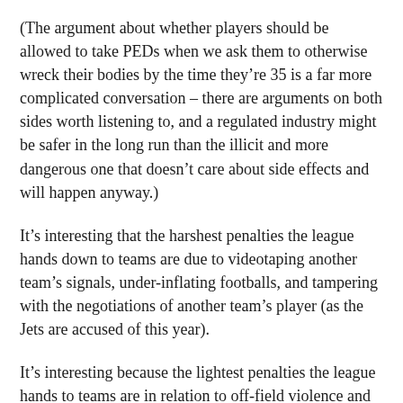(The argument about whether players should be allowed to take PEDs when we ask them to otherwise wreck their bodies by the time they’re 35 is a far more complicated conversation – there are arguments on both sides worth listening to, and a regulated industry might be safer in the long run than the illicit and more dangerous one that doesn’t care about side effects and will happen anyway.)
It’s interesting that the harshest penalties the league hands down to teams are due to videotaping another team’s signals, under-inflating footballs, and tampering with the negotiations of another team’s player (as the Jets are accused of this year).
It’s interesting because the lightest penalties the league hands to teams are in relation to off-field violence and domestic abuse. That seems incredibly backwards to me.
I wish we could see the same indignation leveled at both the league and teams over harboring domestic abusers that we see